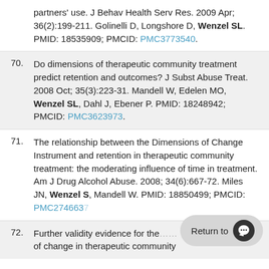partners' use. J Behav Health Serv Res. 2009 Apr; 36(2):199-211. Golinelli D, Longshore D, Wenzel SL. PMID: 18535909; PMCID: PMC3773540.
70. Do dimensions of therapeutic community treatment predict retention and outcomes? J Subst Abuse Treat. 2008 Oct; 35(3):223-31. Mandell W, Edelen MO, Wenzel SL, Dahl J, Ebener P. PMID: 18248942; PMCID: PMC3623973.
71. The relationship between the Dimensions of Change Instrument and retention in therapeutic community treatment: the moderating influence of time in treatment. Am J Drug Alcohol Abuse. 2008; 34(6):667-72. Miles JN, Wenzel S, Mandell W. PMID: 18850499; PMCID: PMC2746637
72. Further validity evidence for the ... of change in therapeutic community